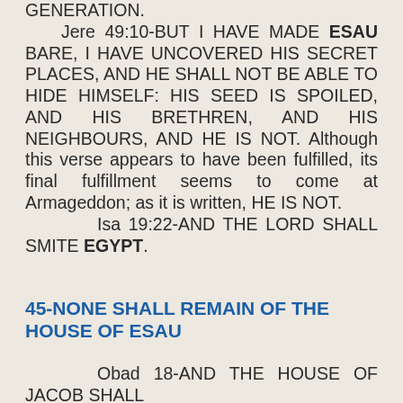GENERATION.
    Jere 49:10-BUT I HAVE MADE ESAU BARE, I HAVE UNCOVERED HIS SECRET PLACES, AND HE SHALL NOT BE ABLE TO HIDE HIMSELF: HIS SEED IS SPOILED, AND HIS BRETHREN, AND HIS NEIGHBOURS, AND HE IS NOT. Although this verse appears to have been fulfilled, its final fulfillment seems to come at Armageddon; as it is written, HE IS NOT.
    Isa 19:22-AND THE LORD SHALL SMITE EGYPT.
45-NONE SHALL REMAIN OF THE HOUSE OF ESAU
Obad 18-AND THE HOUSE OF JACOB SHALL